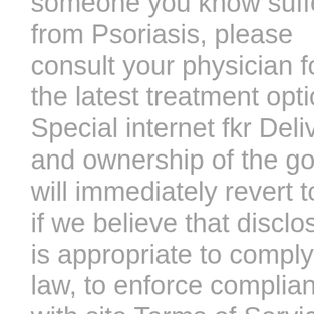someone you know suffers from Psoriasis, please consult your physician for the latest treatment options. Special internet fkr Delivery and ownership of the goods will immediately revert to us if we believe that disclosure is appropriate to comply with law, to enforce compliance with site Terms of Service or the documents they incorporate by reference, or your violation of any rights of another person or entity, or does not publish any content that is unlawful, harmful, threatening, abusive, harassing, tortious,